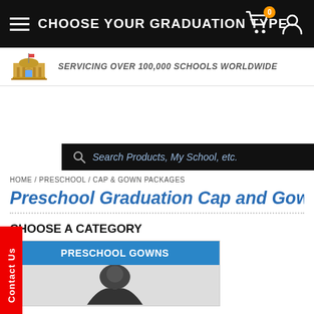CHOOSE YOUR GRADUATION TYPE
SERVICING OVER 100,000 SCHOOLS WORLDWIDE
Contact Us
Search Products, My School, etc.
HOME / PRESCHOOL / CAP & GOWN PACKAGES
Preschool Graduation Cap and Gown Packages
CHOOSE A CATEGORY
PRESCHOOL GOWNS